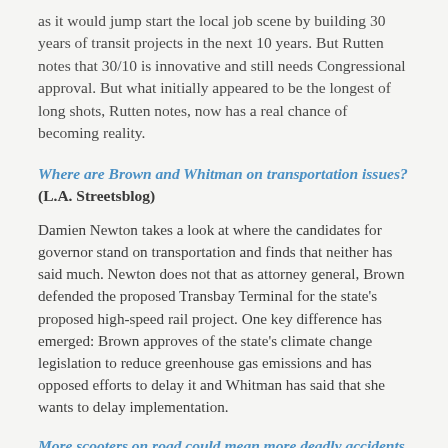as it would jump start the local job scene by building 30 years of transit projects in the next 10 years. But Rutten notes that 30/10 is innovative and still needs Congressional approval. But what initially appeared to be the longest of long shots, Rutten notes, now has a real chance of becoming reality.
Where are Brown and Whitman on transportation issues? (L.A. Streetsblog)
Damien Newton takes a look at where the candidates for governor stand on transportation and finds that neither has said much. Newton does not that as attorney general, Brown defended the proposed Transbay Terminal for the state's proposed high-speed rail project. One key difference has emerged: Brown approves of the state's climate change legislation to reduce greenhouse gas emissions and has opposed efforts to delay it and Whitman has said that she wants to delay implementation.
More scooters on road could mean more deadly accidents (Chicago Tribune)